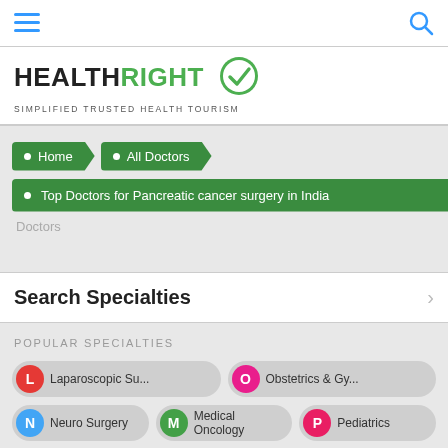HEALTHRIGHT – Simplified Trusted Health Tourism
Home
All Doctors
Top Doctors for Pancreatic cancer surgery in India
Doctors
Search Specialties
POPULAR SPECIALTIES
L Laparoscopic Su...
O Obstetrics & Gy...
N Neuro Surgery
M Medical Oncology
P Pediatrics